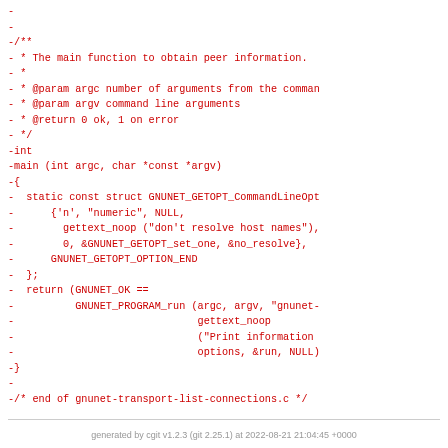- 
- 
-/**
- * The main function to obtain peer information.
- *
- * @param argc number of arguments from the comman
- * @param argv command line arguments
- * @return 0 ok, 1 on error
- */
-int
-main (int argc, char *const *argv)
-{
-  static const struct GNUNET_GETOPT_CommandLineOpt
-      {'n', "numeric", NULL,
-        gettext_noop ("don't resolve host names"),
-        0, &GNUNET_GETOPT_set_one, &no_resolve},
-      GNUNET_GETOPT_OPTION_END
-  };
-  return (GNUNET_OK ==
-          GNUNET_PROGRAM_run (argc, argv, "gnunet-
-                              gettext_noop
-                              ("Print information
-                              options, &run, NULL)
-}
-
-/* end of gnunet-transport-list-connections.c */
generated by cgit v1.2.3 (git 2.25.1) at 2022-08-21 21:04:45 +0000